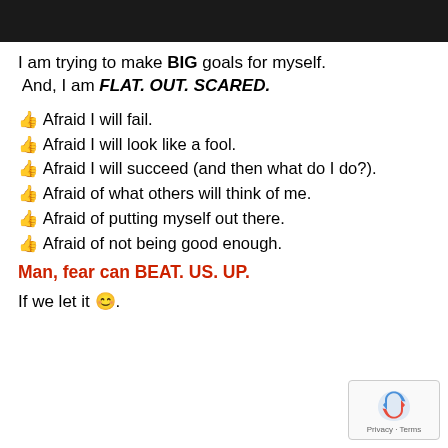[Figure (photo): Dark/black banner image at top of page]
I am trying to make BIG goals for myself. And, I am FLAT. OUT. SCARED.
👍 Afraid I will fail.
👍 Afraid I will look like a fool.
👍 Afraid I will succeed (and then what do I do?).
👍 Afraid of what others will think of me.
👍 Afraid of putting myself out there.
👍 Afraid of not being good enough.
Man, fear can BEAT. US. UP.
If we let it 😊.